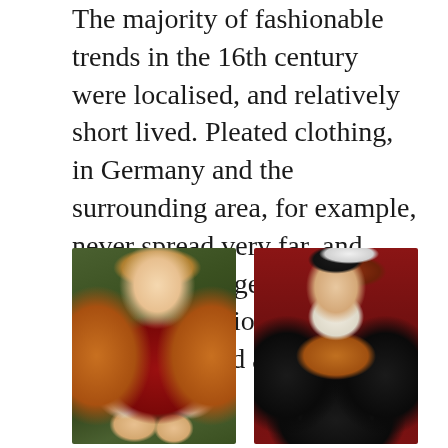The majority of fashionable trends in the 16th century were localised, and relatively short lived. Pleated clothing, in Germany and the surrounding area, for example, never spread very far, and with the homogenisation of European fashion in the 18th Century, it died away.
[Figure (photo): Renaissance portrait painting of a woman in a red and orange dress with puffed sleeves, against a green curtain background]
[Figure (photo): Renaissance portrait painting of a noblewoman in black and orange pleated dress with white stripe accents, wearing a black hat with white feather, against a red background]